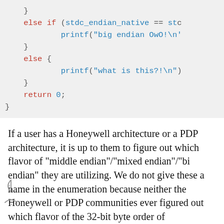[Figure (screenshot): Code block showing C code snippet with else if, else branches, printf statements, closing brace and return 0 statement on a light gray background]
If a user has a Honeywell architecture or a PDP architecture, it is up to them to figure out which flavor of "middle endian"/"mixed endian"/"bi endian" they are utilizing. We do not give these a name in the enumeration because neither the Honeywell or PDP communities ever figured out which flavor of the 32-bit byte order of 2341/3412/2143/etc. was strongly assigned to which name ("mixed" endian? "mixed-big" endian? "bi-little" endian?), and since this is not a settled matter in existing practice we do